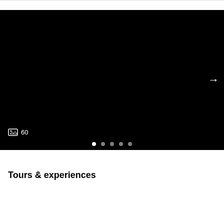[Figure (screenshot): Black slideshow/carousel area showing a dark photo with a right-arrow navigation button, a photo count icon showing 60, and 5 pagination dots at the bottom (first dot active/white, rest grey)]
60
Tours & experiences